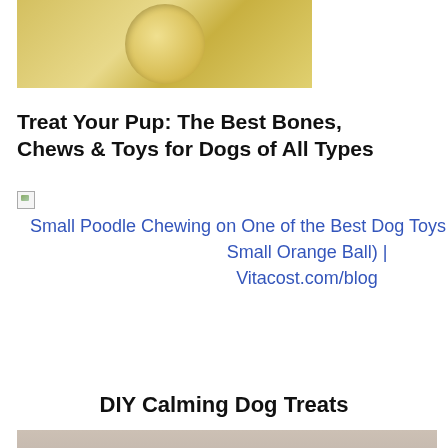[Figure (photo): Close-up photo of a yellow/golden textured round dog treat or biscuit on a light surface]
Treat Your Pup: The Best Bones, Chews & Toys for Dogs of All Types
[Figure (photo): Broken image placeholder link: Small Poodle Chewing on One of the Best Dog Toys for Little Pups (A Small Orange Ball) | Vitacost.com/blog]
DIY Calming Dog Treats
[Figure (photo): Photo of small bone-shaped dog treats scattered on a grey surface]